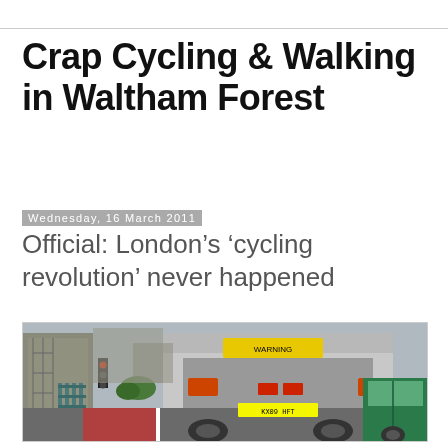Crap Cycling & Walking in Waltham Forest
Wednesday, 16 March 2011
Official: London’s ‘cycling revolution’ never happened
[Figure (photo): Street-level photo showing the back of a large truck and a green car in traffic on a narrow urban road, with a reddish cycle lane visible, metal railings on the left, and buildings in the background.]